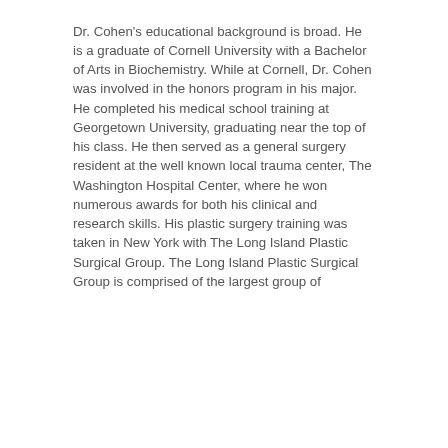Dr. Cohen's educational background is broad. He is a graduate of Cornell University with a Bachelor of Arts in Biochemistry. While at Cornell, Dr. Cohen was involved in the honors program in his major. He completed his medical school training at Georgetown University, graduating near the top of his class. He then served as a general surgery resident at the well known local trauma center, The Washington Hospital Center, where he won numerous awards for both his clinical and research skills. His plastic surgery training was taken in New York with The Long Island Plastic Surgical Group. The Long Island Plastic Surgical Group is comprised of the largest group of